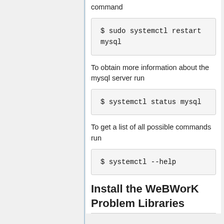command
$ sudo systemctl restart mysql
To obtain more information about the mysql server run
$ systemctl status mysql
To get a list of all possible commands run
$ systemctl --help
Install the WeBWorK Problem Libraries